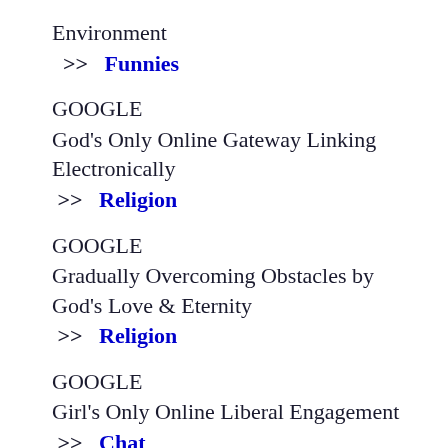Environment
>> Funnies
GOOGLE
God's Only Online Gateway Linking Electronically
>> Religion
GOOGLE
Gradually Overcoming Obstacles by God's Love & Eternity
>> Religion
GOOGLE
Girl's Only Online Liberal Engagement
>> Chat